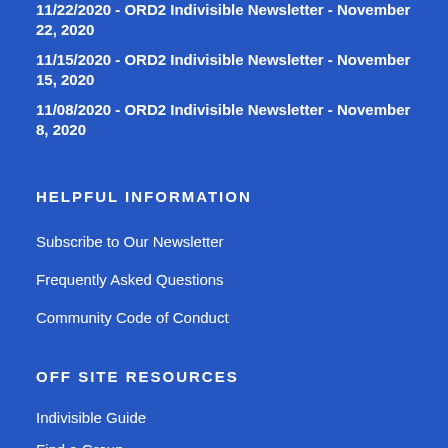11/22/2020 - ORD2 Indivisible Newsletter - November 22, 2020
11/15/2020 - ORD2 Indivisible Newsletter - November 15, 2020
11/08/2020 - ORD2 Indivisible Newsletter - November 8, 2020
HELPFUL INFORMATION
Subscribe to Our Newsletter
Frequently Asked Questions
Community Code of Conduct
OFF SITE RESOURCES
Indivisible Guide
Find a Group